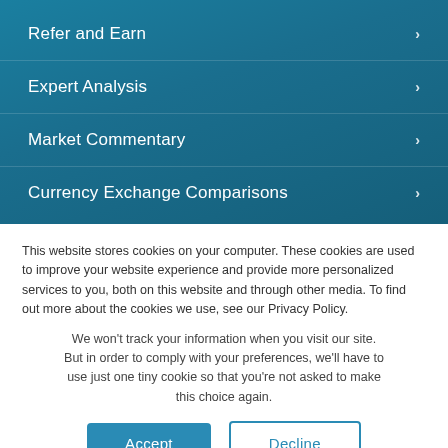Refer and Earn
Expert Analysis
Market Commentary
Currency Exchange Comparisons
This website stores cookies on your computer. These cookies are used to improve your website experience and provide more personalized services to you, both on this website and through other media. To find out more about the cookies we use, see our Privacy Policy.
We won't track your information when you visit our site. But in order to comply with your preferences, we'll have to use just one tiny cookie so that you're not asked to make this choice again.